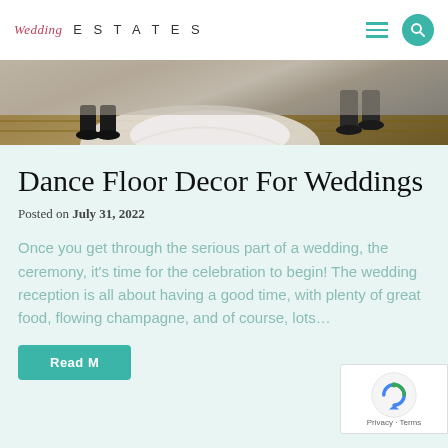Wedding ESTATES — navigation header with hamburger menu and search icon
[Figure (photo): Cropped photo showing wedding dancers on a dance floor, feet and dress hem visible]
Dance Floor Decor For Weddings
Posted on July 31, 2022
Once you get through the serious part of a wedding, the ceremony, it's time for the celebration to begin! The wedding reception is all about having a good time, with plenty of great food, flowing champagne, and of course, lots…